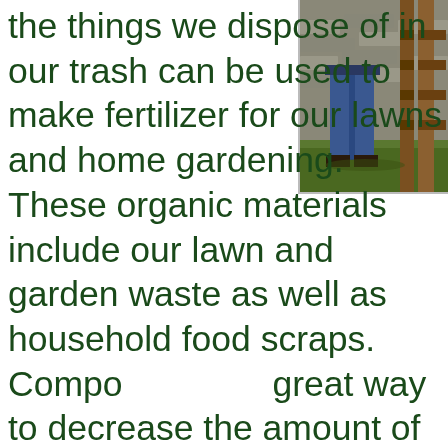[Figure (photo): Photo of a person standing near a wooden composting structure outdoors, wearing jeans, partially visible on the right side of the page.]
the things we dispose of in our trash can be used to make fertilizer for our lawns and home gardening. These organic materials include our lawn and garden waste as well as household food scraps. Composting is a great way to decrease the amount of organic waste that is sent to the landfill. It is used to create mulch that will improve the health of yard soil so that it will support beautiful plants. This will also save you some money as there will be no need to purchase fertilizer for plants. We will use this article will focus on common methods of composting